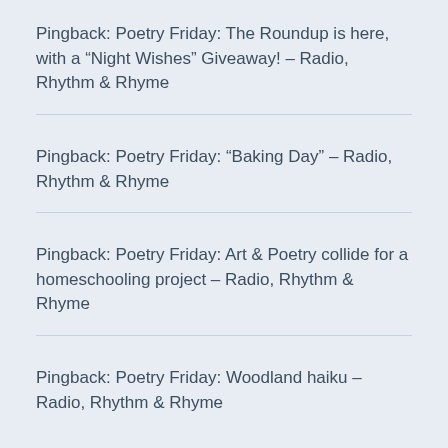Pingback: Poetry Friday: The Roundup is here, with a “Night Wishes” Giveaway! – Radio, Rhythm & Rhyme
Pingback: Poetry Friday: “Baking Day” – Radio, Rhythm & Rhyme
Pingback: Poetry Friday: Art & Poetry collide for a homeschooling project – Radio, Rhythm & Rhyme
Pingback: Poetry Friday: Woodland haiku – Radio, Rhythm & Rhyme